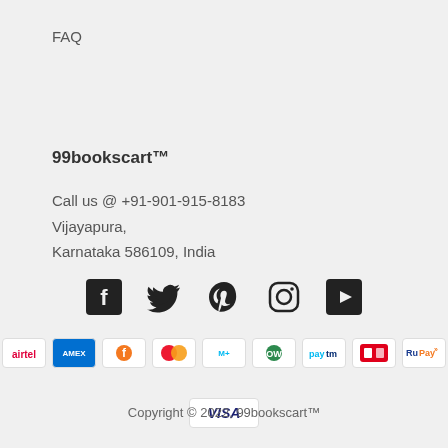FAQ
99bookscart™
Call us @ +91-901-915-8183
Vijayapura,
Karnataka 586109, India
[Figure (illustration): Social media icons row: Facebook, Twitter, Pinterest, Instagram, YouTube]
[Figure (illustration): Payment method logos: Airtel, Amex, Freecharge, Mastercard, Mobikwik, Ola Money, Paytm, PhonePe, RuPay]
[Figure (illustration): Payment method logo: Visa]
Copyright © 2022, 99bookscart™